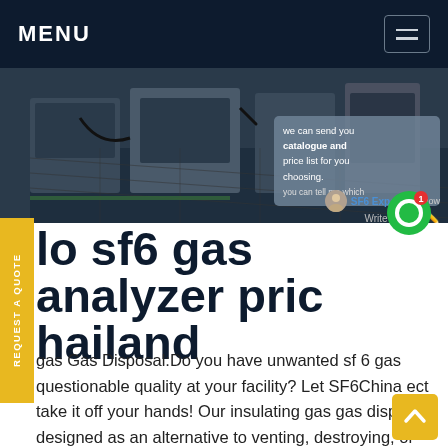MENU
[Figure (photo): Industrial equipment / SF6 gas analyzer lab equipment photo, dark background]
lo sf6 gas analyzer price thailand
gas Gas Disposal:Do you have unwanted sf 6 gas questionable quality at your facility? Let SF6China ect take it off your hands! Our insulating gas gas disposal designed as an alternative to venting, destroying, or stockpiling gaz sf6 contaminated with air, nitrogen (N2) and/orGet price